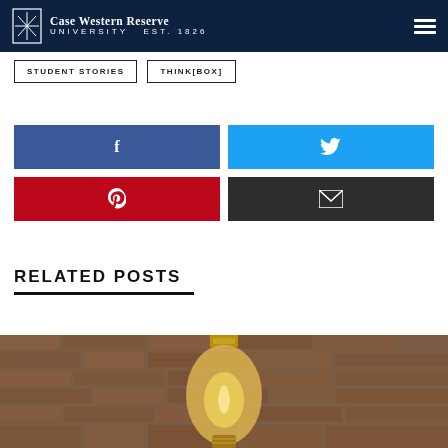Case Western Reserve University Est. 1826
STUDENT STORIES
THINK[BOX]
[Figure (other): Facebook share button (blue)]
[Figure (other): Twitter share button (cyan)]
[Figure (other): Pinterest share button (red)]
[Figure (other): Email share button (black)]
RELATED POSTS
[Figure (photo): Photograph of a vintage Edison light bulb with brick wall background]